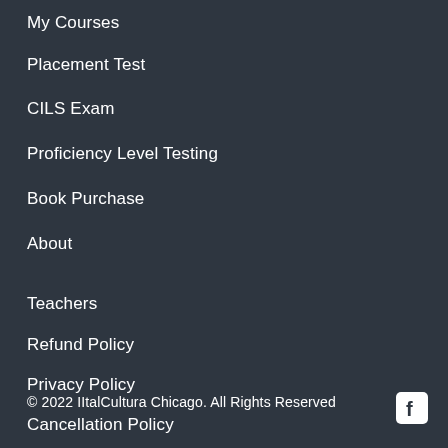My Courses
Placement Test
CILS Exam
Proficiency Level Testing
Book Purchase
About
Teachers
Refund Policy
Privacy Policy
Cancellation Policy
© 2022 IItalCultura Chicago. All Rights Reserved